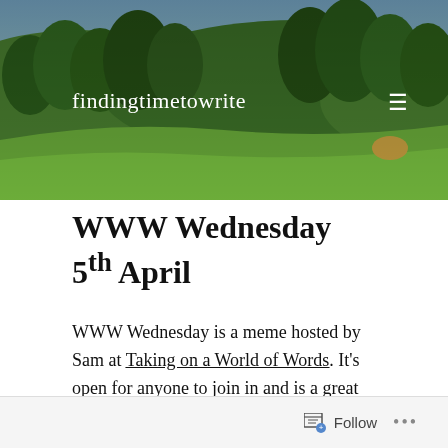[Figure (photo): Banner header photo of a rolling green hillside with trees and grass, used as the blog header background image]
findingtimetowrite
WWW Wednesday 5th April
WWW Wednesday is a meme hosted by Sam at Taking on a World of Words. It's open for anyone to join in and is a great way to share what you've been reading! All you have to do is answer three questions and share a link to your blog in the comments section of Sam's blog.
The three Ws are:
Follow  ...